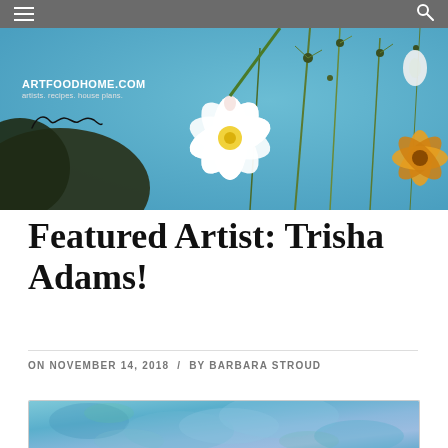ARTFOODHOME.COM | artists. recipes. house plans.
[Figure (photo): Banner photo of white cosmos flower against blue sky with green stems and yellow flower in background]
Featured Artist: Trisha Adams!
ON NOVEMBER 14, 2018  /  BY BARBARA STROUD
[Figure (photo): Partial view of a watercolor painting with blue and teal abstract colors]